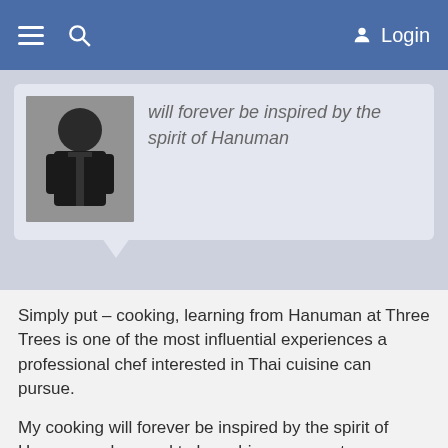≡  🔍  Login
[Figure (photo): Chef in black apron/shirt, photo thumbnail in profile card]
will forever be inspired by the spirit of Hanuman
Simply put – cooking, learning from Hanuman at Three Trees is one of the most influential experiences a professional chef interested in Thai cuisine can pursue.
My cooking will forever be inspired by the spirit of Hanuman... honored to have him as a mentor.
Hanuman's depth of knowledge of Thai culinary culture is mind-blowing. Just as impressive is his ability to break down that information and share it through a unique approach that makes nuanced aspects of the cuisine accessible. I can't imagine there is possibly a better place for